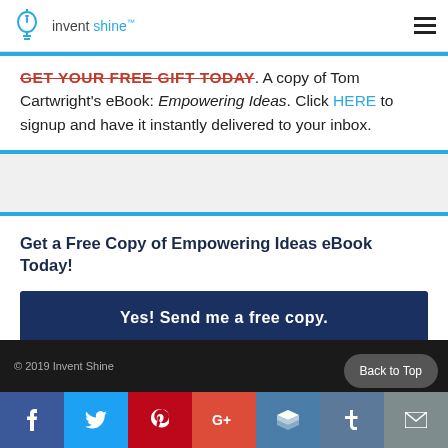invent shine
GET YOUR FREE GIFT TODAY. A copy of Tom Cartwright's eBook: Empowering Ideas. Click HERE to signup and have it instantly delivered to your inbox.
Get a Free Copy of Empowering Ideas eBook Today!
Yes! Send me a free copy.
© 2019 Invent Shine
Back to Top